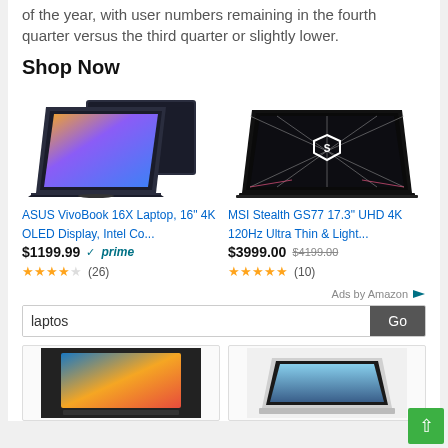of the year, with user numbers remaining in the fourth quarter versus the third quarter or slightly lower.
Shop Now
[Figure (photo): ASUS VivoBook 16X laptop product photo showing open laptop with colorful display and closed laptop behind it]
ASUS VivoBook 16X Laptop, 16" 4K OLED Display, Intel Co...
$1199.99 ✓prime
★★★★☆ (26)
[Figure (photo): MSI Stealth GS77 laptop product photo showing open gaming laptop with MSI shield logo on dark display]
MSI Stealth GS77 17.3" UHD 4K 120Hz Ultra Thin & Light...
$3999.00 $4199.00
★★★★★ (10)
Ads by Amazon
laptos
[Figure (photo): Laptop product thumbnail showing colorful abstract display]
[Figure (photo): MacBook laptop product thumbnail showing open silver laptop]